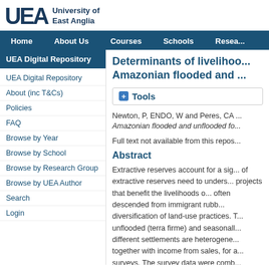University of East Anglia
Home | About Us | Courses | Schools | Research
UEA Digital Repository
UEA Digital Repository
About (inc T&Cs)
Policies
FAQ
Browse by Year
Browse by School
Browse by Research Group
Browse by UEA Author
Search
Login
Determinants of livelihoods in Amazonian flooded and ...
Tools
Newton, P, ENDO, W and Peres, CA ... Amazonian flooded and unflooded fo...
Full text not available from this repository.
Abstract
Extractive reserves account for a significant portion of extractive reserves need to understand projects that benefit the livelihoods of often descended from immigrant rubber tappers, diversification of land-use practices. The unflooded (terra firme) and seasonally flooded different settlements are heterogeneous together with income from sales, for a series of surveys. The survey data were combined engagement in alternative activities, engaged in all three subsistence activities. Households within a community...